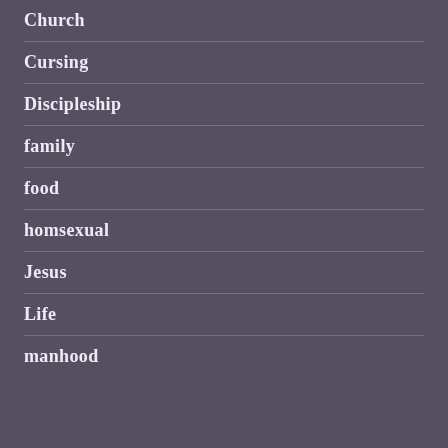Church
Cursing
Discipleship
family
food
homsexual
Jesus
Life
manhood